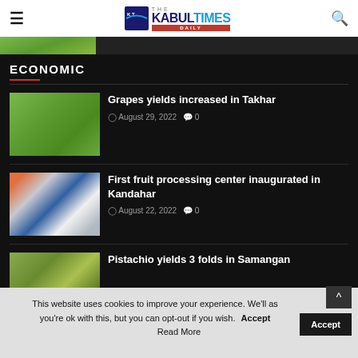The Kabul Times Daily
[Figure (photo): Partial image strip at top of page]
ECONOMIC
Grapes yields increased in Takhar | August 29, 2022 | 0 comments
First fruit processing center inaugurated in Kandahar | August 22, 2022 | 0 comments
Pistachio yields 3 folds in Samangan
This website uses cookies to improve your experience. We'll as you're ok with this, but you can opt-out if you wish. Read More